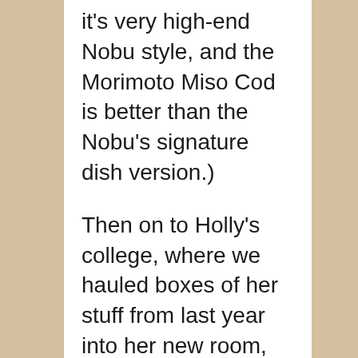it's very high-end Nobu style, and the Morimoto Miso Cod is better than the Nobu's signature dish version.)
Then on to Holly's college, where we hauled boxes of her stuff from last year into her new room, and then left her the